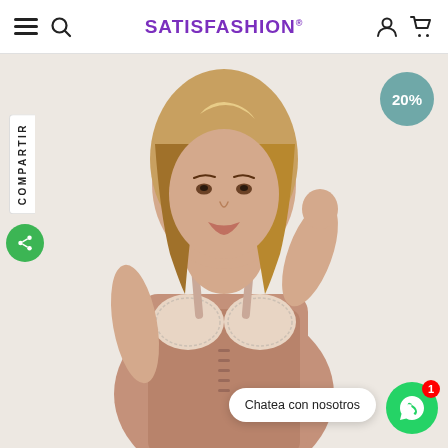SATISFASHION®
[Figure (photo): E-commerce website screenshot showing a woman wearing a beige shapewear/corset bodysuit. The page is from Satisfashion, a fashion/shapewear brand. There is a 20% discount badge in the top right, a share button on the left sidebar, and a WhatsApp chat button at the bottom right with the text 'Chatea con nosotros'.]
COMPARTIR
20%
Chatea con nosotros